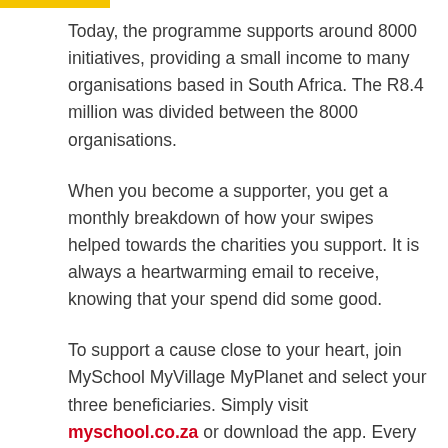Today, the programme supports around 8000 initiatives, providing a small income to many organisations based in South Africa. The R8.4 million was divided between the 8000 organisations.
When you become a supporter, you get a monthly breakdown of how your swipes helped towards the charities you support. It is always a heartwarming email to receive, knowing that your spend did some good.
To support a cause close to your heart, join MySchool MyVillage MyPlanet and select your three beneficiaries. Simply visit myschool.co.za or download the app. Every time you shop at one of the retail partners, including Woolworths, Engen, Loot.co.za, Bidvest, Waltons, Builders and more, a portion of your spend will